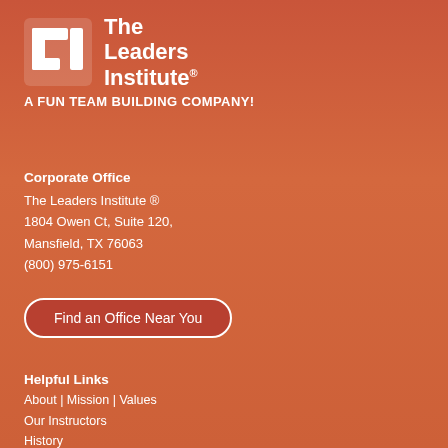[Figure (logo): The Leaders Institute logo — white TLI monogram icon and text 'The Leaders Institute®']
A FUN TEAM BUILDING COMPANY!
Corporate Office
The Leaders Institute ®
1804 Owen Ct, Suite 120,
Mansfield, TX 76063
(800) 975-6151
Find an Office Near You
Helpful Links
About  |  Mission  |  Values
Our Instructors
History
Careers